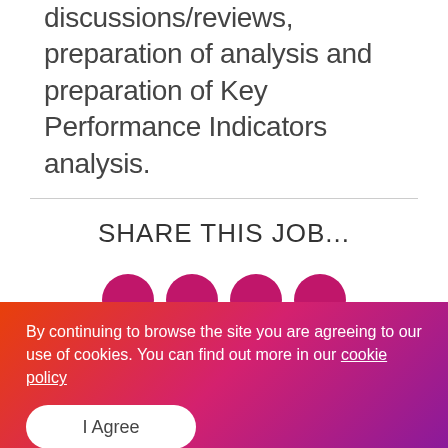discussions/reviews, preparation of analysis and preparation of Key Performance Indicators analysis.
SHARE THIS JOB...
[Figure (other): Four pink/magenta circular social share buttons partially visible]
By continuing to browse the site you are agreeing to our use of cookies. You can find out more in our cookie policy
I Agree